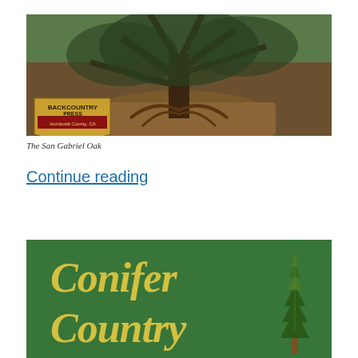[Figure (photo): Large oak tree with sprawling roots on a rocky hillside, taken outdoors in natural light. A 'Backcountry Press, Humboldt County, CA' logo badge is overlaid in the lower left corner of the image.]
The San Gabriel Oak
Continue reading
[Figure (illustration): Green banner image with yellow cursive text reading 'Conifer Country' and an illustration of a tall conifer tree on the right side.]